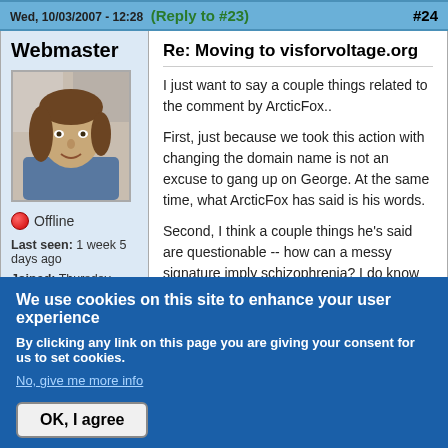Wed, 10/03/2007 - 12:28  (Reply to #23)  #24
Webmaster
[Figure (photo): Profile photo of a man with shoulder-length brown hair wearing a blue shirt]
Offline
Last seen: 1 week 5 days ago
Joined: Thursday, November 16, 2006 - 17:00
Points: 687
Re: Moving to visforvoltage.org
I just want to say a couple things related to the comment by ArcticFox..
First, just because we took this action with changing the domain name is not an excuse to gang up on George. At the same time, what ArcticFox has said is his words.
Second, I think a couple things he's said are questionable -- how can a messy signature imply schizophrenia? I do know about handwriting analysis, and the handwriting analysts I've met use more than a signature
We use cookies on this site to enhance your user experience
By clicking any link on this page you are giving your consent for us to set cookies.
No, give me more info
OK, I agree